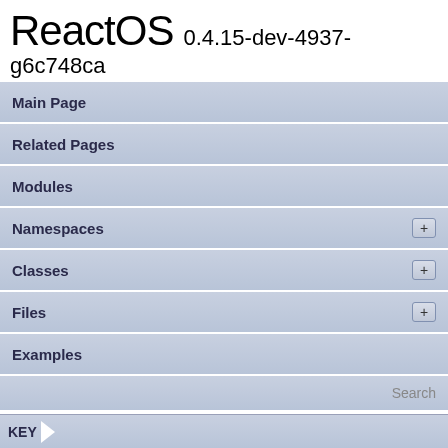ReactOS 0.4.15-dev-4937-g6c748ca
Main Page
Related Pages
Modules
Namespaces +
Classes +
Files +
Examples
Search
Public Attributes | List of all members
KEY
Struct
KEY